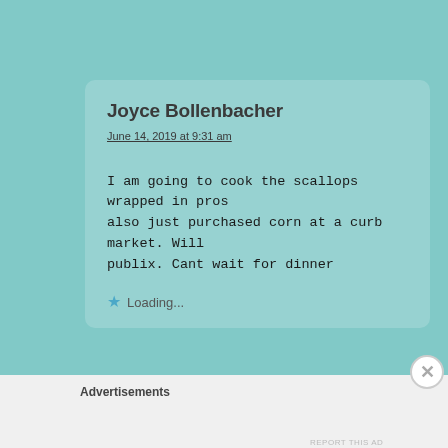Joyce Bollenbacher
June 14, 2019 at 9:31 am
I am going to cook the scallops wrapped in pros also just purchased corn at a curb market. Will publix. Cant wait for dinner
Loading...
Advertisements